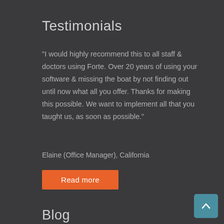Testimonials
"I would highly recommend this to all staff & doctors using Forte. Over 20 years of using your software & missing the boat by not finding out until now what all you offer. Thanks for making this possible. We want to implement all that you taught us, as soon as possible."
Elaine (Office Manager), California
Read more
Blog
Why go with a Microsoft certified solution?
Read More Here